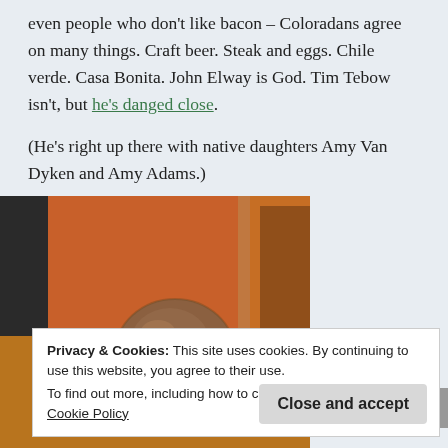even people who don't like bacon – Coloradans agree on many things. Craft beer. Steak and eggs. Chile verde. Casa Bonita. John Elway is God. Tim Tebow isn't, but he's danged close.
(He's right up there with native daughters Amy Van Dyken and Amy Adams.)
[Figure (photo): A round ball of dough or food item sitting on a wooden surface with flour dusting, with an orange background element and dark objects to the left.]
Privacy & Cookies: This site uses cookies. By continuing to use this website, you agree to their use.
To find out more, including how to control cookies, see here: Cookie Policy
Close and accept